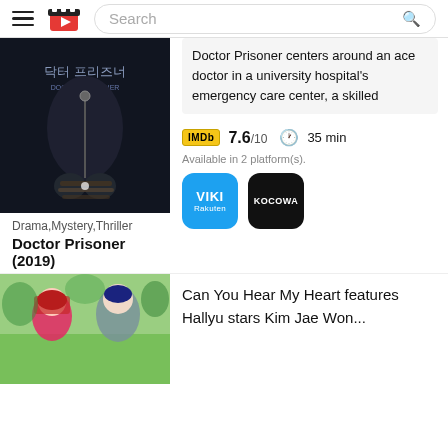Search
[Figure (photo): Doctor Prisoner 2019 Korean drama poster — hands bound with rope holding a stethoscope, dark background with Korean text]
Doctor Prisoner centers around an ace doctor in a university hospital's emergency care center, a skilled
IMDb 7.6/10  35 min
Available in 2 platform(s).
[Figure (logo): VIKI Rakuten logo — blue rounded square]
[Figure (logo): KOCOWA logo — black rounded square]
Drama,Mystery,Thriller
Doctor Prisoner (2019)
[Figure (photo): Can You Hear My Heart Korean drama — two actors, woman with red hair and man with dark hair outdoors]
Can You Hear My Heart features Hallyu stars Kim Jae Won...